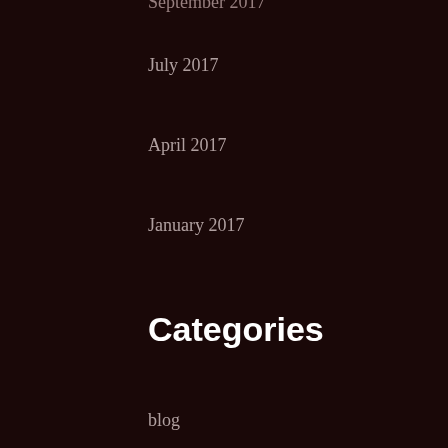September 2017
July 2017
April 2017
January 2017
Categories
blog
child custody
family law
Firm News
RSS Feed
Subscribe To This Blog's Feed